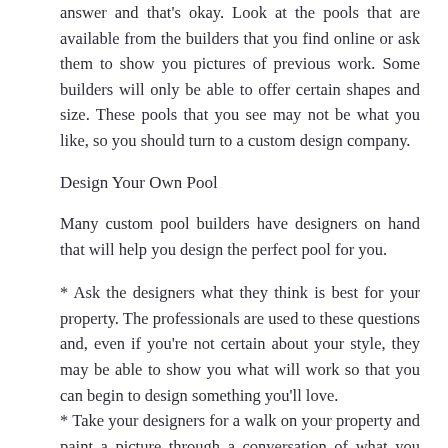answer and that's okay. Look at the pools that are available from the builders that you find online or ask them to show you pictures of previous work. Some builders will only be able to offer certain shapes and size. These pools that you see may not be what you like, so you should turn to a custom design company.
Design Your Own Pool
Many custom pool builders have designers on hand that will help you design the perfect pool for you.
* Ask the designers what they think is best for your property. The professionals are used to these questions and, even if you're not certain about your style, they may be able to show you what will work so that you can begin to design something you'll love.
* Take your designers for a walk on your property and paint a picture through a conversation of what you want. As you talk to them, they'll be able to bounce ideas back